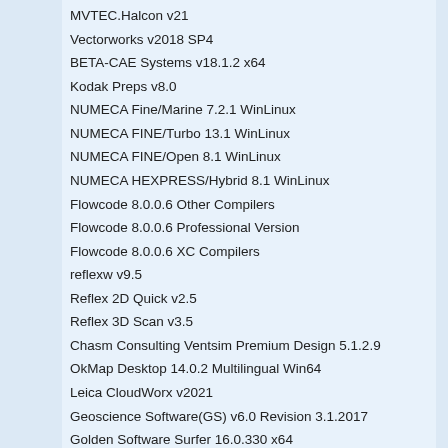MVTEC.Halcon v21
Vectorworks v2018 SP4
BETA-CAE Systems v18.1.2 x64
Kodak Preps v8.0
NUMECA Fine/Marine 7.2.1 WinLinux
NUMECA FINE/Turbo 13.1 WinLinux
NUMECA FINE/Open 8.1 WinLinux
NUMECA HEXPRESS/Hybrid 8.1 WinLinux
Flowcode 8.0.0.6 Other Compilers
Flowcode 8.0.0.6 Professional Version
Flowcode 8.0.0.6 XC Compilers
reflexw v9.5
Reflex 2D Quick v2.5
Reflex 3D Scan v3.5
Chasm Consulting Ventsim Premium Design 5.1.2.9
OkMap Desktop 14.0.2 Multilingual Win64
Leica CloudWorx v2021
Geoscience Software(GS) v6.0 Revision 3.1.2017
Golden Software Surfer 16.0.330 x64
IAR Embedded Workbench for Renesas M16C-R8C v3.71.1
IAR_Embedded_Workbench_for_ARM_8.32.1
Keysight Advanced Design System (ADS) 2019 Win64
Keysight.89600.VSA.22.21.Win64
KnowWare.QI.Macros.2018.09
progeCAD 2019 Professional 19.0.4.7 Win64